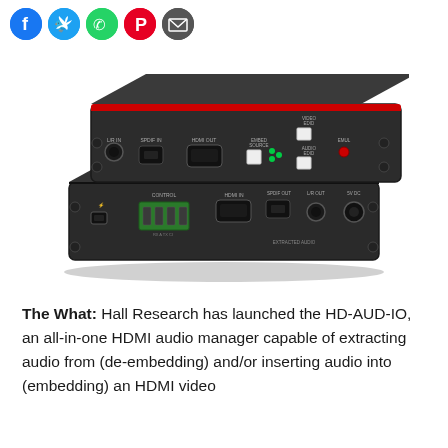[Figure (illustration): Row of five social media sharing icon circles: Facebook (blue), Twitter (light blue), WhatsApp (green), Pinterest (red), Email (dark grey)]
[Figure (photo): Product photo of the Hall Research HD-AUD-IO HDMI audio manager device, showing two stacked black metal boxes with various ports including L/R IN, SPDIF IN, HDMI OUT, EMBED SOURCE, VIDEO EDID, AUDIO EDID, EMUL on top unit, and CONTROL, HDMI IN, SPDIF OUT, L/R OUT, 5V DC on bottom unit.]
The What: Hall Research has launched the HD-AUD-IO, an all-in-one HDMI audio manager capable of extracting audio from (de-embedding) and/or inserting audio into (embedding) an HDMI video